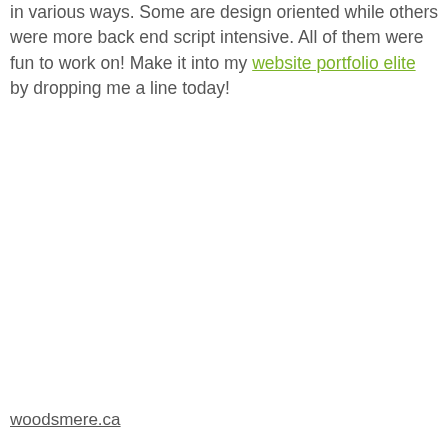in various ways. Some are design oriented while others were more back end script intensive. All of them were fun to work on! Make it into my website portfolio elite by dropping me a line today!
woodsmere.ca